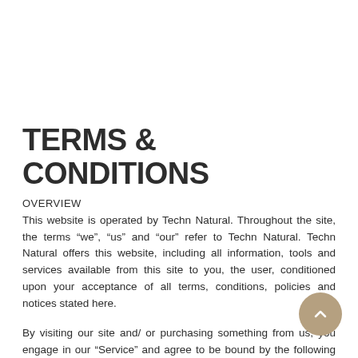TERMS & CONDITIONS
OVERVIEW
This website is operated by Techn Natural. Throughout the site, the terms “we”, “us” and “our” refer to Techn Natural. Techn Natural offers this website, including all information, tools and services available from this site to you, the user, conditioned upon your acceptance of all terms, conditions, policies and notices stated here.
By visiting our site and/ or purchasing something from us, you engage in our “Service” and agree to be bound by the following terms and conditions (“Terms of Service”, “Terms”), including those additional terms and conditions and policies referenced